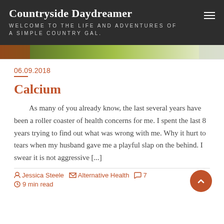Countryside Daydreamer
WELCOME TO THE LIFE AND ADVENTURES OF A SIMPLE COUNTRY GAL.
[Figure (photo): Partial food/salad image strip at top of content area]
06.09.2018
Calcium
As many of you already know, the last several years have been a roller coaster of health concerns for me. I spent the last 8 years trying to find out what was wrong with me. Why it hurt to tears when my husband gave me a playful slap on the behind. I swear it is not aggressive [...]
Jessica Steele  Alternative Health  7
9 min read